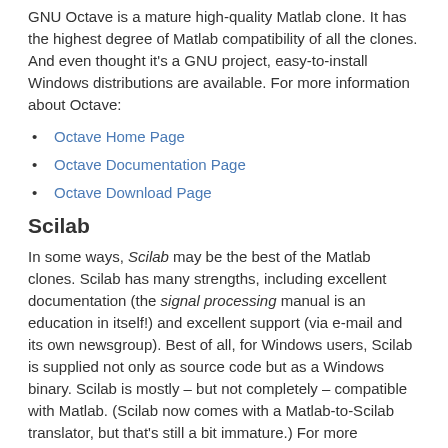GNU Octave is a mature high-quality Matlab clone. It has the highest degree of Matlab compatibility of all the clones. And even thought it’s a GNU project, easy-to-install Windows distributions are available. For more information about Octave:
Octave Home Page
Octave Documentation Page
Octave Download Page
Scilab
In some ways, Scilab may be the best of the Matlab clones. Scilab has many strengths, including excellent documentation (the signal processing manual is an education in itself!) and excellent support (via e-mail and its own newsgroup). Best of all, for Windows users, Scilab is supplied not only as source code but as a Windows binary. Scilab is mostly – but not completely – compatible with Matlab. (Scilab now comes with a Matlab-to-Scilab translator, but that’s still a bit immature.) For more information: